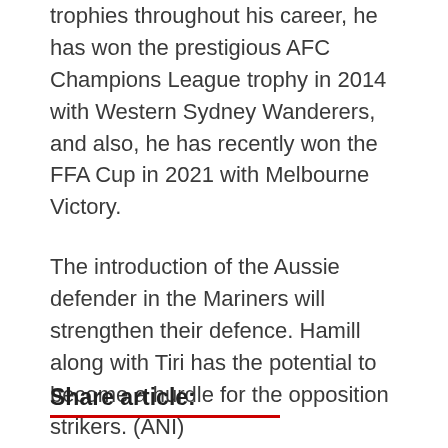trophies throughout his career, he has won the prestigious AFC Champions League trophy in 2014 with Western Sydney Wanderers, and also, he has recently won the FFA Cup in 2021 with Melbourne Victory.
The introduction of the Aussie defender in the Mariners will strengthen their defence. Hamill along with Tiri has the potential to become a hurdle for the opposition strikers. (ANI)
Share article: